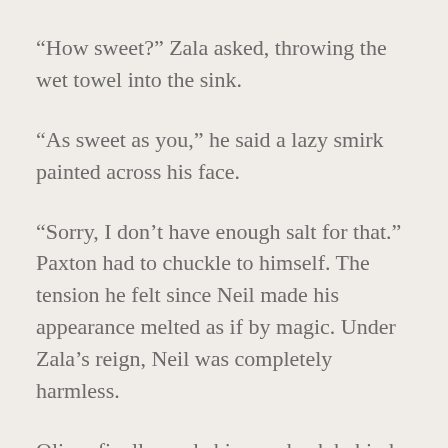“How sweet?” Zala asked, throwing the wet towel into the sink.
“As sweet as you,” he said a lazy smirk painted across his face.
“Sorry, I don’t have enough salt for that.” Paxton had to chuckle to himself. The tension he felt since Neil made his appearance melted as if by magic. Under Zala’s reign, Neil was completely harmless.
Oliver finally made his way back behind the counter.
“Hey, Olives,” Neil greeted him. How that guy